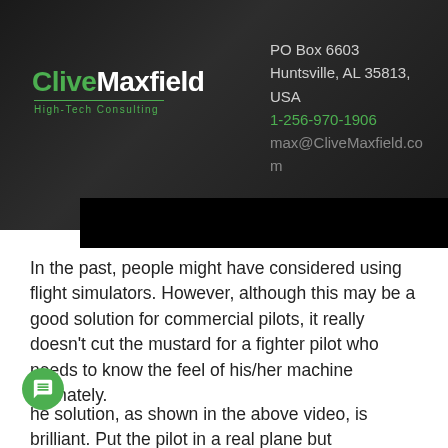[Figure (logo): CliveMaxfield High-Tech Consulting logo with green and white text on dark background, with contact information: PO Box 6603, Huntsville, AL 35813, USA, 1-256-970-1906, max@CliveMaxfield.com]
In the past, people might have considered using flight simulators. However, although this may be a good solution for commercial pilots, it really doesn't cut the mustard for a fighter pilot who needs to know the feel of his/her machine intimately.
he solution, as shown in the above video, is brilliant. Put the pilot in a real plane but